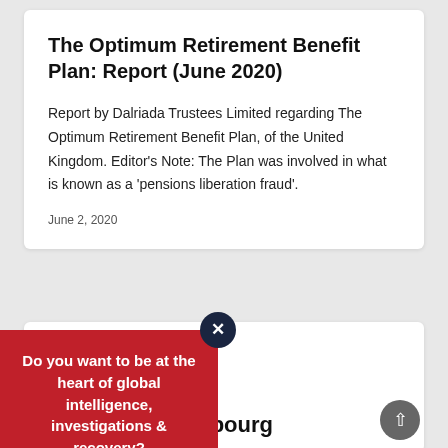The Optimum Retirement Benefit Plan: Report (June 2020)
Report by Dalriada Trustees Limited regarding The Optimum Retirement Benefit Plan, of the United Kingdom. Editor's Note: The Plan was involved in what is known as a 'pensions liberation fraud'.
June 2, 2020
[Figure (other): Red popup overlay with text 'Do you want to be at the heart of global intelligence, investigations & recovery?' with a close (X) button and a scroll-to-top arrow button]
...onse to Luxembourg